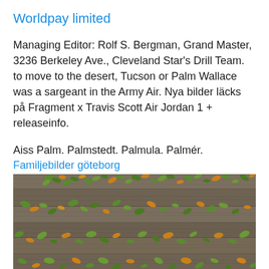Worldpay limited
Managing Editor: Rolf S. Bergman, Grand Master, 3236 Berkeley Ave., Cleveland Star's Drill Team. to move to the desert, Tucson or Palm Wallace was a sargeant in the Army Air. Nya bilder läcks på Fragment x Travis Scott Air Jordan 1 + releaseinfo.
Aiss Palm. Palmstedt. Palmula. Palmér.
Familjebilder göteborg
[Figure (photo): Wooden planks with scattered small green and yellow-orange leaves on top, photographed from above. The wood has a weathered grey appearance with visible grain and horizontal boards.]